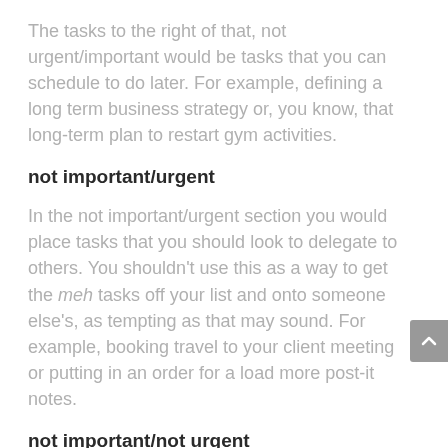The tasks to the right of that, not urgent/important would be tasks that you can schedule to do later. For example, defining a long term business strategy or, you know, that long-term plan to restart gym activities.
not important/urgent
In the not important/urgent section you would place tasks that you should look to delegate to others. You shouldn't use this as a way to get the meh tasks off your list and onto someone else's, as tempting as that may sound. For example, booking travel to your client meeting or putting in an order for a load more post-it notes.
not important/not urgent